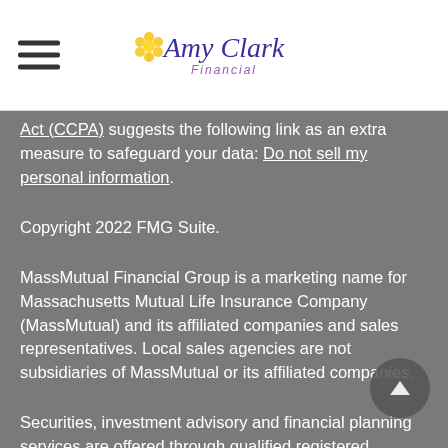Amy Clark Financial
Act (CCPA) suggests the following link as an extra measure to safeguard your data: Do not sell my personal information.
Copyright 2022 FMG Suite.
MassMutual Financial Group is a marketing name for Massachusetts Mutual Life Insurance Company (MassMutual) and its affiliated companies and sales representatives. Local sales agencies are not subsidiaries of MassMutual or its affiliated companies.
Securities, investment advisory and financial planning services are offered through qualified registered representatives of MML Investors Services, LLC. Member SIPC. Amy Clark Financial is not a subsidiary or affiliate of MML Investors Services, LLC, or its affiliated companies. Supervisory office: 3540 E Longwing Lane,